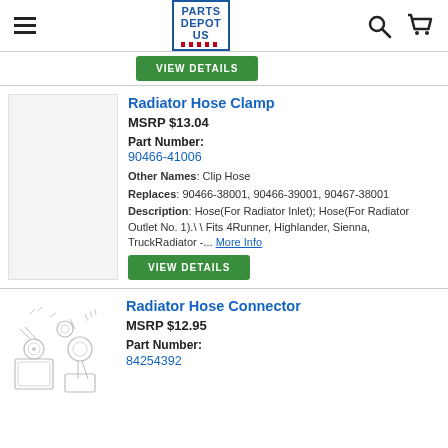Parts Depot US — navigation header with search and cart icons
[Figure (other): Green VIEW DETAILS button (partial, top of page)]
Radiator Hose Clamp
MSRP $13.04
Part Number: 90466-41006
Other Names: Clip Hose
Replaces: 90466-38001, 90466-39001, 90467-38001
Description: Hose(For Radiator Inlet); Hose(For Radiator Outlet No. 1).\ \ Fits 4Runner, Highlander, Sienna, TruckRadiator -... More Info
[Figure (other): Green VIEW DETAILS button for Radiator Hose Clamp]
Radiator Hose Connector
MSRP $12.95
Part Number: 84254392